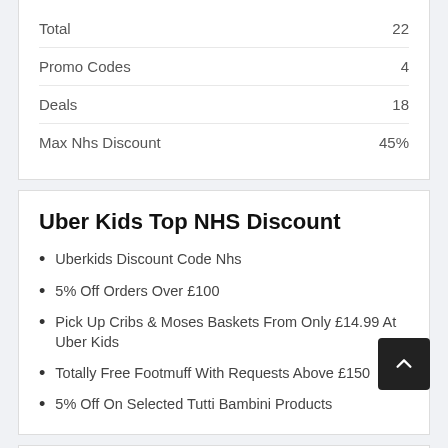|  |  |
| --- | --- |
| Total | 22 |
| Promo Codes | 4 |
| Deals | 18 |
| Max Nhs Discount | 45% |
Uber Kids Top NHS Discount
Uberkids Discount Code Nhs
5% Off Orders Over £100
Pick Up Cribs & Moses Baskets From Only £14.99 At Uber Kids
Totally Free Footmuff With Requests Above £150
5% Off On Selected Tutti Bambini Products